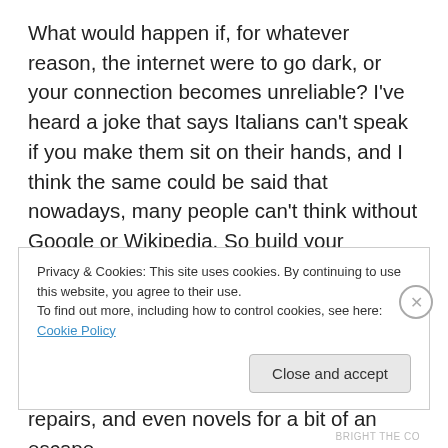What would happen if, for whatever reason, the internet were to go dark, or your connection becomes unreliable? I've heard a joke that says Italians can't speak if you make them sit on their hands, and I think the same could be said that nowadays, many people can't think without Google or Wikipedia. So build your resources; start getting books on topics like emergency first-aid, foraging plants for your region (and do your local parks have walnut trees, apple trees, stinging nettles or edible greens?), gardening, household repairs, and even novels for a bit of an escape
Privacy & Cookies: This site uses cookies. By continuing to use this website, you agree to their use.
To find out more, including how to control cookies, see here: Cookie Policy